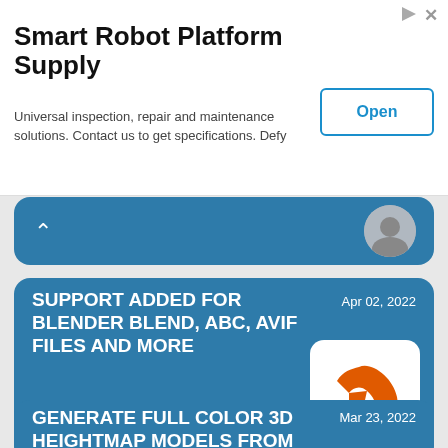[Figure (screenshot): Advertisement banner for Smart Robot Platform Supply with Open button]
Smart Robot Platform Supply
Universal inspection, repair and maintenance solutions. Contact us to get specifications. Defy
[Figure (other): Collapsed card with chevron up icon and avatar image]
[Figure (other): Article card: Support Added For Blender Blend, ABC, AVIF Files And More - Apr 02, 2022 with Blender logo and Read more button]
SUPPORT ADDED FOR BLENDER BLEND, ABC, AVIF FILES AND MORE
[Figure (logo): Blender 3D software logo - orange and dark blue swirl design]
[Figure (other): Partial article card: Generate Full Color 3D Heightmap Models From Images - Mar 23, 2022]